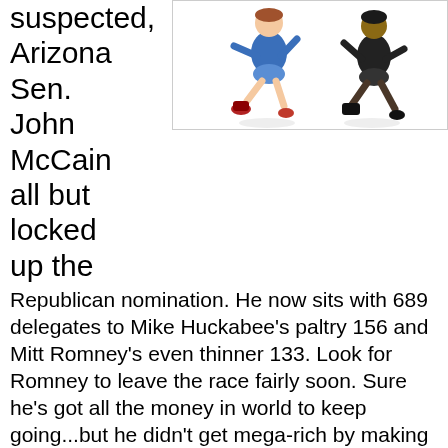suspected, Arizona Sen. John McCain all but locked up the
[Figure (illustration): Illustration of two running figures, one in blue outfit with red boots and one in black outfit, appearing to race against each other.]
Republican nomination. He now sits with 689 delegates to Mike Huckabee's paltry 156 and Mitt Romney's even thinner 133. Look for Romney to leave the race fairly soon. Sure he's got all the money in world to keep going...but he didn't get mega-rich by making dumb personal financial decisions. As for Huckabee, the affable yet right-wing extremist former Arkansas governor will also soon realize that the rest of the nation's states are not as evangelical-rich as the few Southern states he won this week. Let's not forget that this part of the country, where religious zealots are in abundance, only gave the Baptist minister a mere handful of delegates. Watch McCain on TV now. He's downright giddy. New-found confidence that knows no bounds. And that's because he's now the shark who sees and smells the blood. He knows it's over.
But the Democratic landscape is anything but decided, which